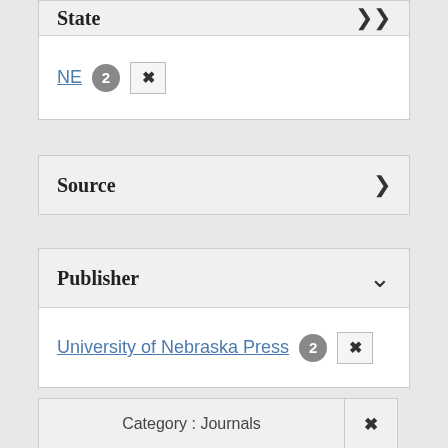State
NE 2 ×
Source
Publisher
University of Nebraska Press 2 ×
Category : Journals ×
Place : Omaha, Nebr. ×
State : NE ×